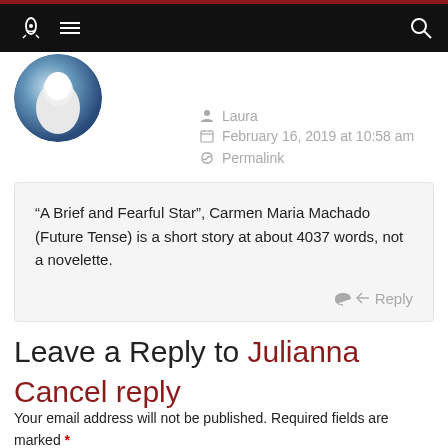[Navigation bar with rocket logo, hamburger menu, and search icon]
[Figure (photo): Circular avatar photo showing a white fluffy figure against a blue globe background]
Laura
February 16, 2019 at 10:58 am
Permalink
“A Brief and Fearful Star”, Carmen Maria Machado (Future Tense) is a short story at about 4037 words, not a novelette.
Reply
Leave a Reply to Julianna  Cancel reply
Your email address will not be published. Required fields are marked *